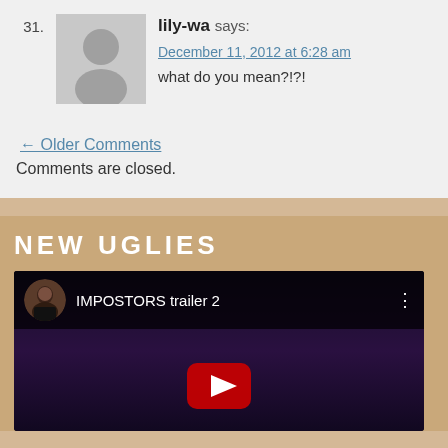31. lily-wa says: December 11, 2012 at 6:28 am — what do you mean?!?!
← Older Comments
Comments are closed.
NEW UGLIES
[Figure (screenshot): YouTube video thumbnail for 'IMPOSTORS trailer 2' with a play button and dark background]